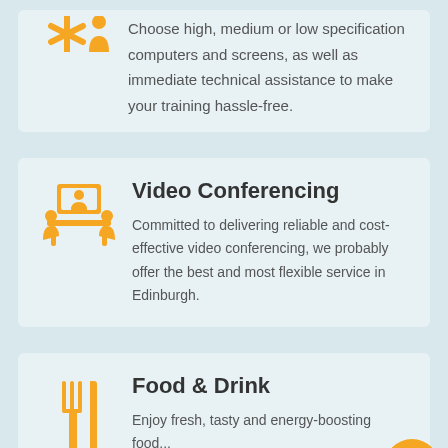Choose high, medium or low specification computers and screens, as well as immediate technical assistance to make your training hassle-free.
[Figure (illustration): Orange icon of two people sitting at a table with a screen/monitor showing video conferencing]
Video Conferencing
Committed to delivering reliable and cost-effective video conferencing, we probably offer the best and most flexible service in Edinburgh.
[Figure (illustration): Orange icon of a fork and knife representing food and drink]
Food & Drink
Enjoy fresh, tasty and energy-boosting food...
[Figure (illustration): Orange circular chat bubble button in bottom right corner]